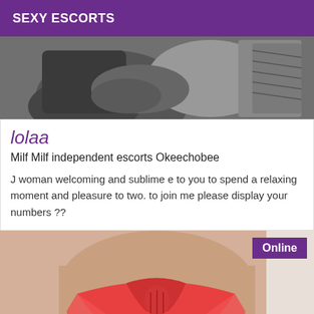SEXY ESCORTS
[Figure (photo): Black and white photo showing partial body/clothing items from above]
lolaa
Milf Milf independent escorts Okeechobee
J woman welcoming and sublime e to you to spend a relaxing moment and pleasure to two. to join me please display your numbers ??
[Figure (photo): Photo showing person from behind wearing a red garment, with Online badge overlay]